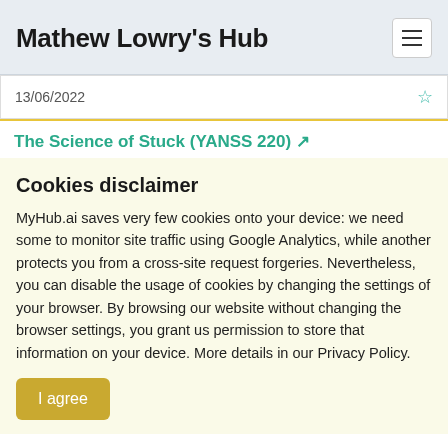Mathew Lowry's Hub
13/06/2022
The Science of Stuck (YANSS 220) ↗
Cookies disclaimer
MyHub.ai saves very few cookies onto your device: we need some to monitor site traffic using Google Analytics, while another protects you from a cross-site request forgeries. Nevertheless, you can disable the usage of cookies by changing the settings of your browser. By browsing our website without changing the browser settings, you grant us permission to store that information on your device. More details in our Privacy Policy.
I agree